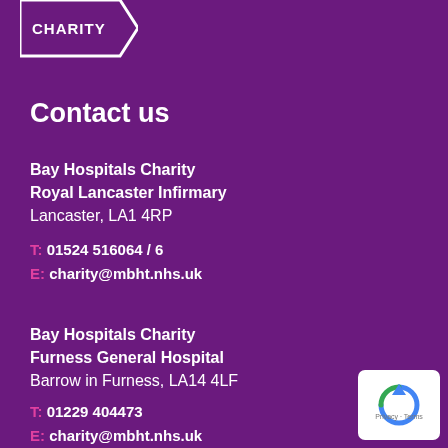[Figure (logo): Bay Hospitals Charity logo - white outlined shape with CHARITY text]
Contact us
Bay Hospitals Charity
Royal Lancaster Infirmary
Lancaster, LA1 4RP
T: 01524 516064 / 6
E: charity@mbht.nhs.uk
Bay Hospitals Charity
Furness General Hospital
Barrow in Furness, LA14 4LF
T: 01229 404473
E: charity@mbht.nhs.uk
[Figure (logo): reCAPTCHA / Privacy-Terms badge in bottom right corner]